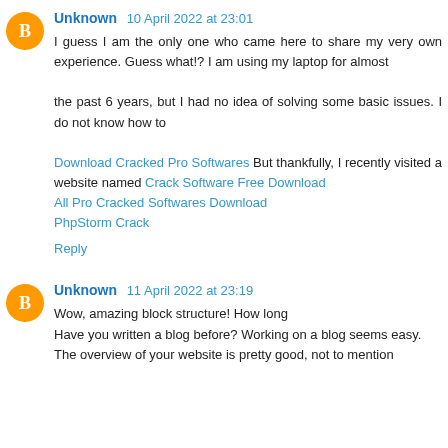Unknown 10 April 2022 at 23:01
I guess I am the only one who came here to share my very own experience. Guess what!? I am using my laptop for almost

the past 6 years, but I had no idea of solving some basic issues. I do not know how to

Download Cracked Pro Softwares But thankfully, I recently visited a website named Crack Software Free Download
All Pro Cracked Softwares Download
PhpStorm Crack
Reply
Unknown 11 April 2022 at 23:19
Wow, amazing block structure! How long
Have you written a blog before? Working on a blog seems easy.
The overview of your website is pretty good, not to mention the layout.